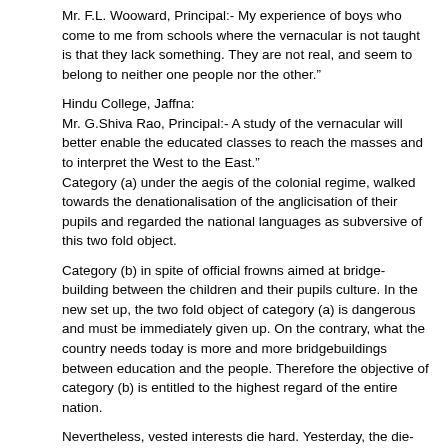Mr. F.L. Wooward, Principal:- My experience of boys who come to me from schools where the vernacular is not taught is that they lack something. They are not real, and seem to belong to neither one people nor the other.”
Hindu College, Jaffna:
Mr. G.Shiva Rao, Principal:- A study of the vernacular will better enable the educated classes to reach the masses and to interpret the West to the East.”
Category (a) under the aegis of the colonial regime, walked towards the denationalisation of the anglicisation of their pupils and regarded the national languages as subversive of this two fold object.
Category (b) in spite of official frowns aimed at bridge-building between the children and their pupils culture. In the new set up, the two fold object of category (a) is dangerous and must be immediately given up. On the contrary, what the country needs today is more and more bridgebuildings between education and the people. Therefore the objective of category (b) is entitled to the highest regard of the entire nation.
Nevertheless, vested interests die hard. Yesterday, the die-hards of the Christian minority opposed the study of Vernacular” languages in English schools; today they are opposing the change over to Vernacular” languages media beyond the 8th standard. This is the way the Christian minority who now form about 9% of the population are determined to control the education of the entire nation. Kenya Government may allow that kind of thing to wipe out the language and culture of Kenya Africans in its attempt to expel them from the better parts of their country. But in free Ceylon giving the control of education to a microscopic minority cuts at the very